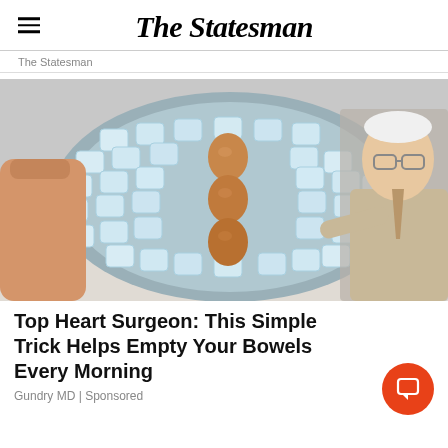The Statesman
The Statesman
[Figure (photo): A person holding a large bowl filled with ice cubes and three brown eggs arranged vertically in the center. An older man in a suit and glasses stands on the right, pointing at the bowl with an expression of surprise.]
Top Heart Surgeon: This Simple Trick Helps Empty Your Bowels Every Morning
Gundry MD | Sponsored